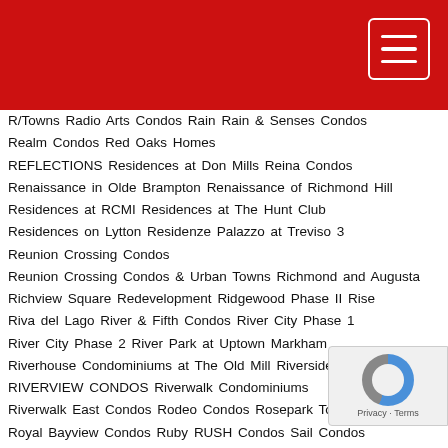R/Towns
Radio Arts Condos
Rain
Rain & Senses Condos
Realm Condos
Red Oaks Homes
REFLECTIONS Residences at Don Mills
Reina Condos
Renaissance in Olde Brampton
Renaissance of Richmond Hill
Residences at RCMI
Residences at The Hunt Club
Residences on Lytton
Residenze Palazzo at Treviso 3
Reunion Crossing Condos
Reunion Crossing Condos & Urban Towns
Richmond and Augusta
Richview Square Redevelopment
Ridgewood Phase II
Rise
Riva del Lago
River & Fifth Condos
River City Phase 1
River City Phase 2
River Park at Uptown Markham
Riverhouse Condominiums at The Old Mill
Riverside Towns
RIVERVIEW CONDOS
Riverwalk Condominiums
Riverwalk East Condos
Rodeo Condos
Rosepark Townhomes
Royal Bayview Condos
Ruby
RUSH Condos
Sail Condos
Saison Condos
Saisons Condos
Sanctuary Lofts
Saturday in Downsview Park
Savile On The Roe Towns
Savvy
Savvy Condominiums at Cosmo
Scala Condos
Scenic on Eglinton Tower 2
Scenic on Eglinton Tower 3
Scenic Trails Condos
Schoolhouse
Scoop Condos 2
Scout Condos
Seasons Condos Phase 2
Seasons Upper Ho...
SF3 Condominiums
SF3 Condos
Shangri La
Sheppard Gardens...